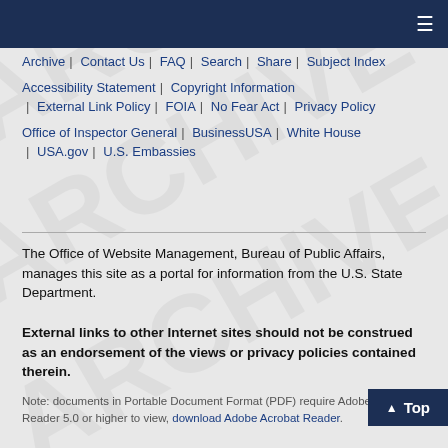Navigation bar with hamburger menu icon
Archive | Contact Us | FAQ | Search | Share | Subject Index
Accessibility Statement | Copyright Information | External Link Policy | FOIA | No Fear Act | Privacy Policy
Office of Inspector General | BusinessUSA | White House | USA.gov | U.S. Embassies
The Office of Website Management, Bureau of Public Affairs, manages this site as a portal for information from the U.S. State Department.
External links to other Internet sites should not be construed as an endorsement of the views or privacy policies contained therein.
Note: documents in Portable Document Format (PDF) require Adobe Acrobat Reader 5.0 or higher to view, download Adobe Acrobat Reader.